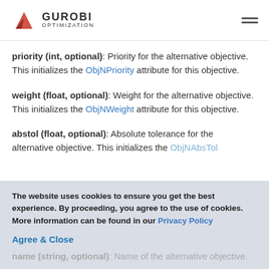GUROBI OPTIMIZATION
priority (int, optional): Priority for the alternative objective. This initializes the ObjNPriority attribute for this objective.
weight (float, optional): Weight for the alternative objective. This initializes the ObjNWeight attribute for this objective.
abstol (float, optional): Absolute tolerance for the alternative objective. This initializes the ObjNAbsTol attribute for this objective.
The website uses cookies to ensure you get the best experience. By proceeding, you agree to the use of cookies. More information can be found in our Privacy Policy
Agree & Close
name (string, optional): Name of the alternative objective.